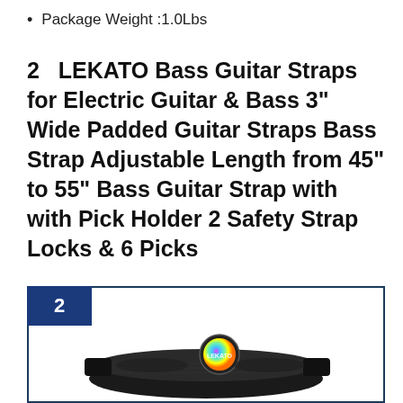Package Weight :1.0Lbs
2   LEKATO Bass Guitar Straps for Electric Guitar & Bass 3" Wide Padded Guitar Straps Bass Strap Adjustable Length from 45" to 55" Bass Guitar Strap with with Pick Holder 2 Safety Strap Locks & 6 Picks
[Figure (photo): Product image of LEKATO bass guitar strap inside a ranked card with badge number 2, showing a black padded guitar strap with colorful pick holder]